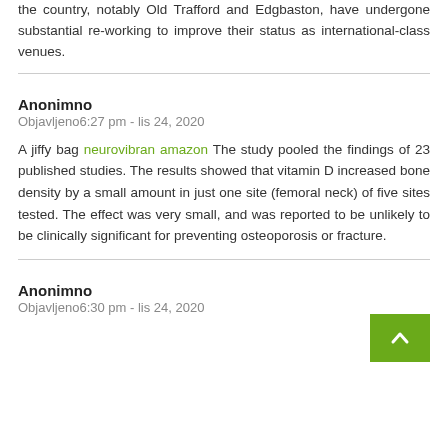the country, notably Old Trafford and Edgbaston, have undergone substantial re-working to improve their status as international-class venues.
Anonimno
Objavljeno6:27 pm - lis 24, 2020
A jiffy bag neurovibran amazon The study pooled the findings of 23 published studies. The results showed that vitamin D increased bone density by a small amount in just one site (femoral neck) of five sites tested. The effect was very small, and was reported to be unlikely to be clinically significant for preventing osteoporosis or fracture.
Anonimno
Objavljeno6:30 pm - lis 24, 2020